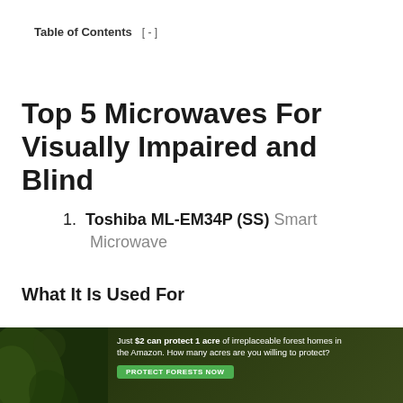Table of Contents [ - ]
Top 5 Microwaves For Visually Impaired and Blind
1. Toshiba ML-EM34P (SS) Smart Microwave
What It Is Used For
Heating
Defrosting
[Figure (infographic): Advertisement banner: Just $2 can protect 1 acre of irreplaceable forest homes in the Amazon. How many acres are you willing to protect? With a green PROTECT FORESTS NOW button, dark forest background with leaf imagery.]